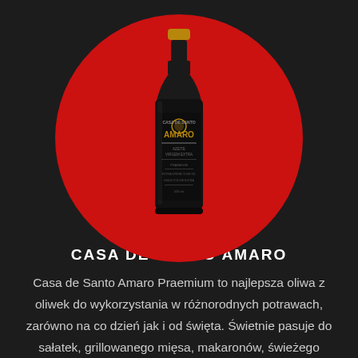[Figure (illustration): A dark glass bottle of Casa de Santo Amaro premium olive oil with a gold cap, displayed on a red circular background against a dark textured backdrop.]
CASA DE SANTO AMARO
Casa de Santo Amaro Praemium to najlepsza oliwa z oliwek do wykorzystania w różnorodnych potrawach, zarówno na co dzień jak i od święta. Świetnie pasuje do sałatek, grillowanego mięsa, makaronów, świeżego